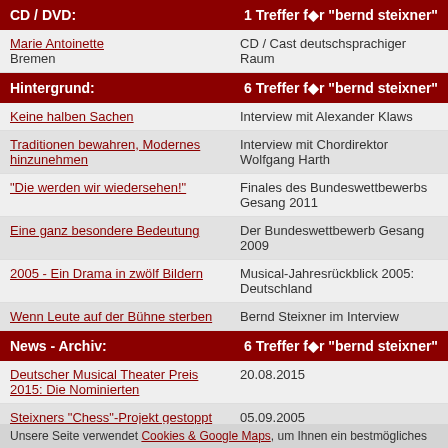CD / DVD: | 1 Treffer für "bernd steixner"
Marie Antoinette Bremen | CD / Cast deutschsprachiger Raum
Hintergrund: | 6 Treffer für "bernd steixner"
Keine halben Sachen | Interview mit Alexander Klaws
Traditionen bewahren, Modernes hinzunehmen | Interview mit Chordirektor Wolfgang Harth
"Die werden wir wiedersehen!" | Finales des Bundeswettbewerbs Gesang 2011
Eine ganz besondere Bedeutung | Der Bundeswettbewerb Gesang 2009
2005 - Ein Drama in zwölf Bildern | Musical-Jahresrückblick 2005: Deutschland
Wenn Leute auf der Bühne sterben | Bernd Steixner im Interview
News - Archiv: | 6 Treffer für "bernd steixner"
Deutscher Musical Theater Preis 2015: Die Nominierten | 20.08.2015
Steixners "Chess"-Projekt gestoppt | 05.09.2005
Steixner plant "Chess"-Konzertversion | 22.07.2005
Bernd Steixner hofft weiter auf "Martin Guerre" | 02.03.2005
Jesus Christ - in concert | 11.07.2004
Unsere Seite verwendet Cookies & Google Maps, um Ihnen ein bestmögliches